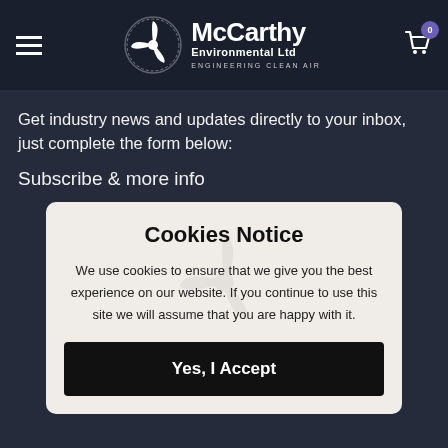McCarthy Environmental Ltd - Engineering Clean Air
Get industry news and updates directly to your inbox, just complete the form below:
Subscribe & more info
Cookies Notice
We use cookies to ensure that we give you the best experience on our website. If you continue to use this site we will assume that you are happy with it.
Yes, I Accept